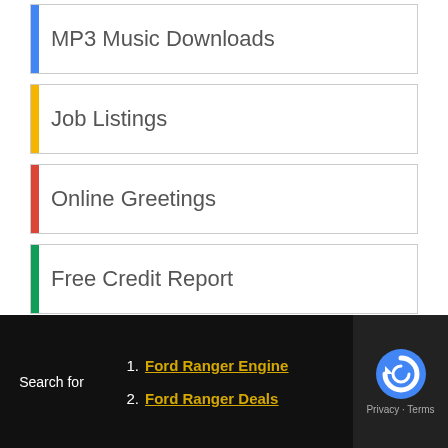MP3 Music Downloads
Job Listings
Online Greetings
Free Credit Report
Discount Shopping
Yellow Pages
Breaking News
Social Networking
Free Ringtones
Search for
1. Ford Ranger Engine
2. Ford Ranger Deals